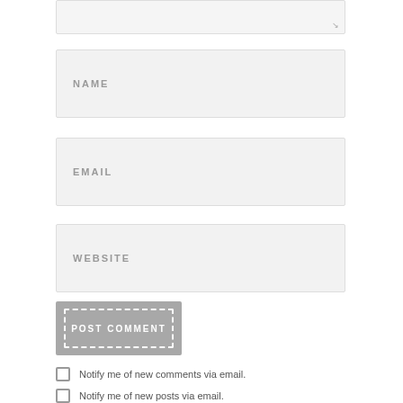[Figure (screenshot): Bottom of a web comment form showing a partial textarea (top portion cut off with resize handle), followed by NAME, EMAIL, and WEBSITE input fields, a POST COMMENT button with dashed inner border, and two checkboxes labeled 'Notify me of new comments via email.' and 'Notify me of new posts via email.']
Notify me of new comments via email.
Notify me of new posts via email.